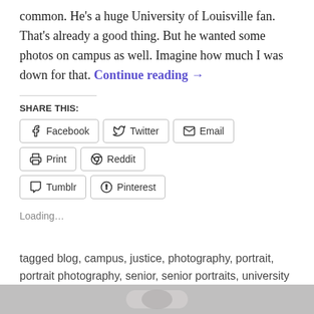common. He's a huge University of Louisville fan. That's already a good thing. But he wanted some photos on campus as well. Imagine how much I was down for that. Continue reading →
SHARE THIS:
Facebook
Twitter
Email
Print
Reddit
Tumblr
Pinterest
Loading...
tagged blog, campus, justice, photography, portrait, portrait photography, senior, senior portraits, university of louisville, uofl      leave a comment
[Figure (photo): Bottom strip showing partial photo, gray toned image]